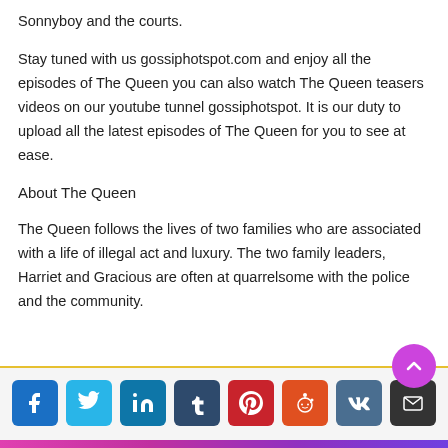Sonnyboy and the courts.
Stay tuned with us gossiphotspot.com and enjoy all the episodes of The Queen you can also watch The Queen teasers videos on our youtube tunnel gossiphotspot. It is our duty to upload all the latest episodes of The Queen for you to see at ease.
About The Queen
The Queen follows the lives of two families who are associated with a life of illegal act and luxury. The two family leaders, Harriet and Gracious are often at quarrelsome with the police and the community.